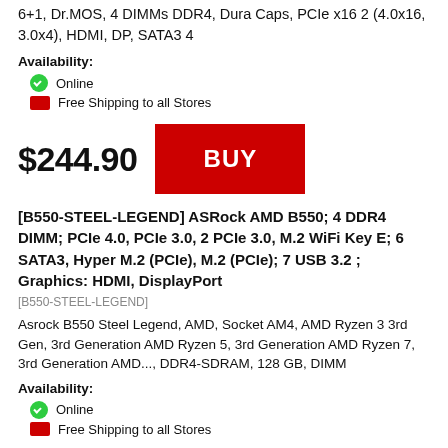6+1, Dr.MOS, 4 DIMMs DDR4, Dura Caps, PCIe x16 2 (4.0x16, 3.0x4), HDMI, DP, SATA3 4
Availability:
Online
Free Shipping to all Stores
$244.90
BUY
[B550-STEEL-LEGEND] ASRock AMD B550; 4 DDR4 DIMM; PCIe 4.0, PCIe 3.0, 2 PCIe 3.0, M.2 WiFi Key E; 6 SATA3, Hyper M.2 (PCIe), M.2 (PCIe); 7 USB 3.2 ; Graphics: HDMI, DisplayPort
[B550-STEEL-LEGEND]
Asrock B550 Steel Legend, AMD, Socket AM4, AMD Ryzen 3 3rd Gen, 3rd Generation AMD Ryzen 5, 3rd Generation AMD Ryzen 7, 3rd Generation AMD..., DDR4-SDRAM, 128 GB, DIMM
Availability:
Online
Free Shipping to all Stores